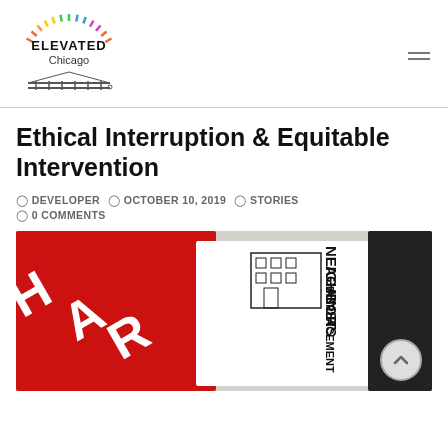Elevated Chicago
Ethical Interruption & Equitable Intervention
DEVELOPER  OCTOBER 10, 2019  STORIES
0 COMMENTS
[Figure (photo): Protest signs including a red sign with large letters and a white sign reading NEIGHBORS AGAINST DISPLACEMENT with a building illustration]